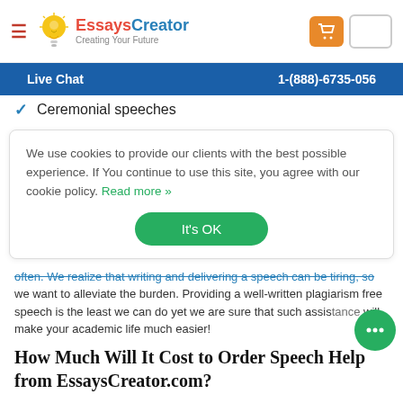[Figure (logo): EssaysCreator logo with lightbulb icon, text 'EssaysCreator' in red and blue, tagline 'Creating Your Future']
Live Chat    1-(888)-6735-056
Ceremonial speeches
We use cookies to provide our clients with the best possible experience. If You continue to use this site, you agree with our cookie policy. Read more »
It's OK
often. We realize that writing and delivering a speech can be tiring, so we want to alleviate the burden. Providing a well-written plagiarism free speech is the least we can do yet we are sure that such assistance will make your academic life much easier!
How Much Will It Cost to Order Speech Help from EssaysCreator.com?
You must be wondering how much it costs to use our services. Use the